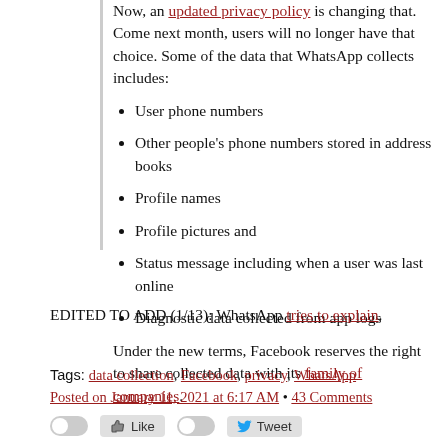Now, an updated privacy policy is changing that. Come next month, users will no longer have that choice. Some of the data that WhatsApp collects includes:
User phone numbers
Other people's phone numbers stored in address books
Profile names
Profile pictures and
Status message including when a user was last online
Diagnostic data collected from app logs
Under the new terms, Facebook reserves the right to share collected data with its family of companies.
EDITED TO ADD (1/13): WhatsApp tries to explain.
Tags: data collection, Facebook, privacy, WhatsApp
Posted on January 11, 2021 at 6:17 AM • 43 Comments